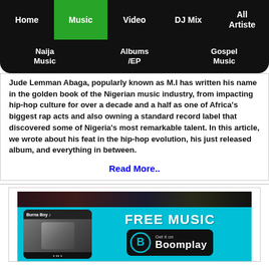Home | Music | Video | DJ Mix | All Artiste
Naija Music | Albums/EP | Gospel Music
Jude Lemman Abaga, popularly known as M.I has written his name in the golden book of the Nigerian music industry, from impacting hip-hop culture for over a decade and a half as one of Africa's biggest rap acts and also owning a standard record label that discovered some of Nigeria's most remarkable talent. In this article, we wrote about his feat in the hip-hop evolution, his just released album, and everything in between.
Read More..
[Figure (screenshot): Boomplay advertisement banner showing FREE MUSIC with a phone mockup of Burna Boy and Boomplay Get it on button on cyan background]